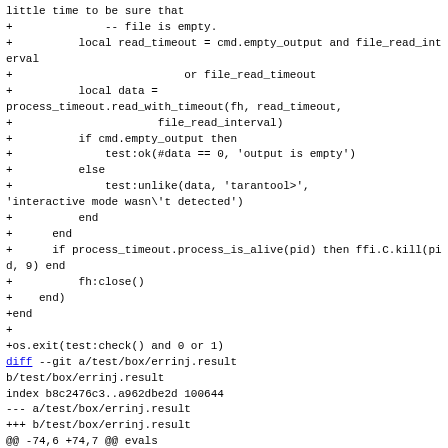little time to be sure that
+              -- file is empty.
+          local read_timeout = cmd.empty_output and file_read_interval
+                          or file_read_timeout
+          local data =
process_timeout.read_with_timeout(fh, read_timeout,
+                      file_read_interval)
+          if cmd.empty_output then
+              test:ok(#data == 0, 'output is empty')
+          else
+              test:unlike(data, 'tarantool>',
'interactive mode wasn\'t detected')
+          end
+      end
+      if process_timeout.process_is_alive(pid) then ffi.C.kill(pid, 9) end
+          fh:close()
+    end)
+end
+
+os.exit(test:check() and 0 or 1)
diff --git a/test/box/errinj.result
b/test/box/errinj.result
index b8c2476c3..a962dbe2d 100644
--- a/test/box/errinj.result
+++ b/test/box/errinj.result
@@ -74,6 +74,7 @@ evals
    - ERRINJ_SNAP_COMMIT_DELAY: false
    - ERRINJ_SNAP_WRITE_DELAY: false
    - ERRINJ_SQL_NAME_NORMALIZATION: false